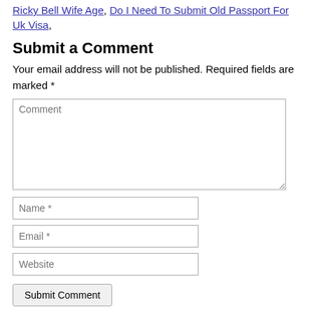Ricky Bell Wife Age, Do I Need To Submit Old Passport For Uk Visa,
Submit a Comment
Your email address will not be published. Required fields are marked *
Comment (textarea)
Name *
Email *
Website
Submit Comment
© 2020 Clearance Pass | Terms of Service